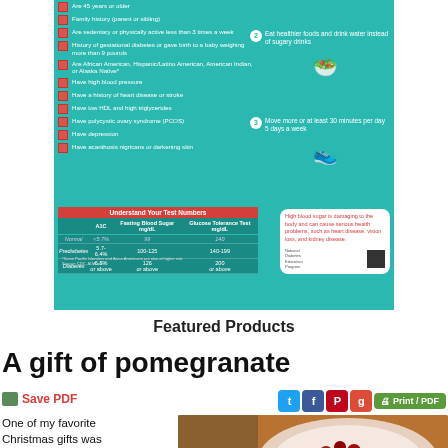[Figure (infographic): Diabetes risk factors checklist infographic on teal background with checkboxes, lifestyle tips with numbered icons, and a blood sugar test numbers table. Includes sidebar with warning about high blood sugar.]
Featured Products
A gift of pomegranate
Save PDF
One of my favorite Christmas gifts was
[Figure (photo): Photo of a pomegranate cut open showing red seeds]